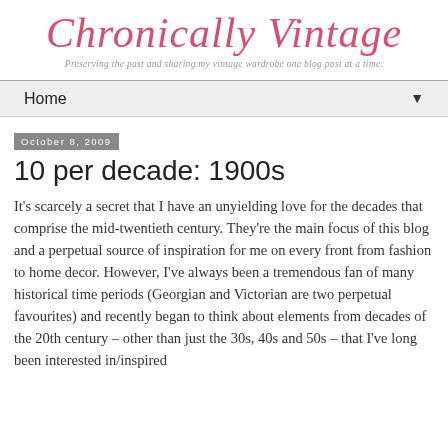Chronically Vintage
Preserving the past and sharing my vintage wardrobe one blog post at a time.
Home
October 8, 2009
10 per decade: 1900s
It's scarcely a secret that I have an unyielding love for the decades that comprise the mid-twentieth century. They're the main focus of this blog and a perpetual source of inspiration for me on every front from fashion to home decor. However, I've always been a tremendous fan of many historical time periods (Georgian and Victorian are two perpetual favourites) and recently began to think about elements from decades of the 20th century – other than just the 30s, 40s and 50s – that I've long been interested in/inspired